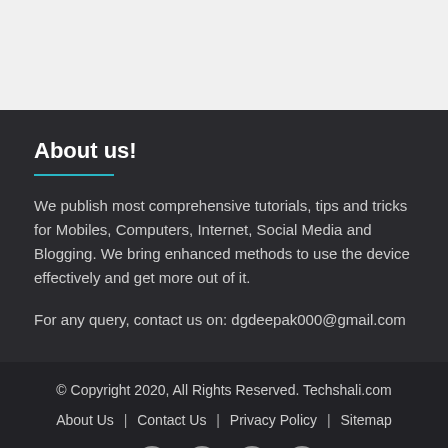About us!
We publish most comprehensive tutorials, tips and tricks for Mobiles, Computers, Internet, Social Media and Blogging. We bring enhanced methods to use the device effectively and get more out of it.
For any query, contact us on: dgdeepak000@gmail.com
© Copyright 2020, All Rights Reserved. Techshali.com
About Us  |  Contact Us  |  Privacy Policy  |  Sitemap